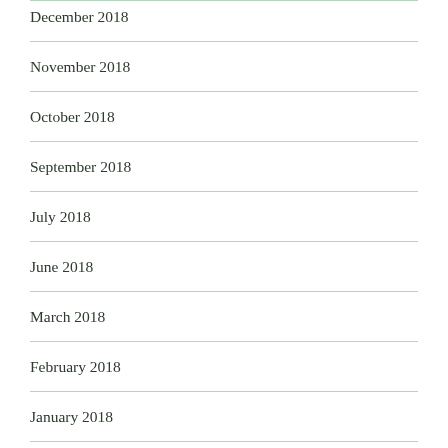December 2018
November 2018
October 2018
September 2018
July 2018
June 2018
March 2018
February 2018
January 2018
December 2017
October 2017